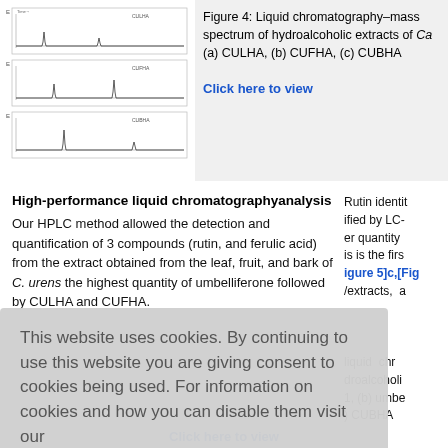[Figure (other): Three chromatogram traces (LC-MS) shown as narrow horizontal spectrum plots stacked vertically, representing hydroalcoholic extracts of C. urens: (a) CULHA, (b) CUFHA, (c) CUBHA]
Figure 4: Liquid chromatography–mass spectrum of hydroalcoholic extracts of Ca (a) CULHA, (b) CUFHA, (c) CUBHA
High-performance liquid chromatographyanalysis
Our HPLC method allowed the detection and quantification of 3 compounds (rutin, and ferulic acid) from the extract obtained from the leaf, fruit, and bark of C. urens the highest quantity of umbelliferone followed by CULHA and CUFHA. Rutin identit ified by LC- er quantity is is the firs igure 5]c,[Fig /extracts, a
This website uses cookies. By continuing to use this website you are giving consent to cookies being used. For information on cookies and how you can disable them visit our
Privacy and Cookie Policy.
AGREE & PROCEED
liquid chr droalcoholi 1, (b) umbe ) CUBHA
Click here to view